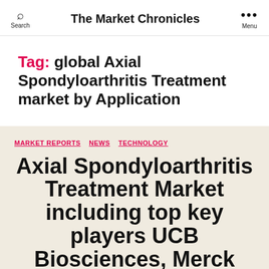Search | The Market Chronicles | Menu
Tag: global Axial Spondyloarthritis Treatment market by Application
MARKET REPORTS NEWS TECHNOLOGY
Axial Spondyloarthritis Treatment Market including top key players UCB Biosciences, Merck